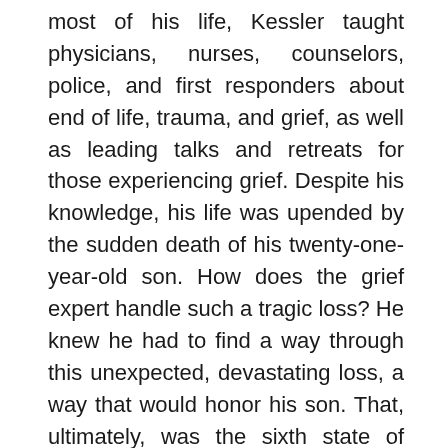most of his life, Kessler taught physicians, nurses, counselors, police, and first responders about end of life, trauma, and grief, as well as leading talks and retreats for those experiencing grief. Despite his knowledge, his life was upended by the sudden death of his twenty-one-year-old son. How does the grief expert handle such a tragic loss? He knew he had to find a way through this unexpected, devastating loss, a way that would honor his son. That, ultimately, was the sixth state of grief—meaning. In Finding Meaning, Kessler shares the insights, collective wisdom, and powerful tools that will help those experiencing loss. Finding Meaning is a necessary addition to grief literature and a vital guide to healing from tremendous loss. This is an inspiring, deeply intelligent must-read for anyone looking to journey away from suffering, through loss, and